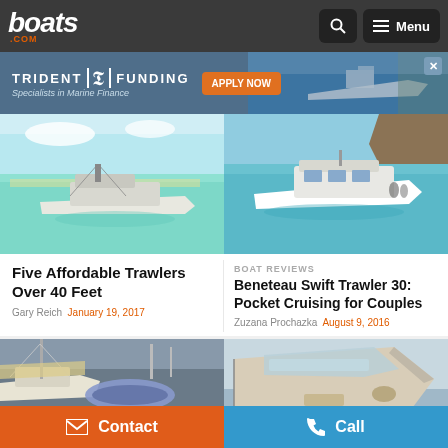boats.com – Menu navigation header
[Figure (screenshot): Trident Funding advertisement banner: Specialists in Marine Finance, Apply Now button]
[Figure (photo): White trawler boat on turquoise shallow water]
[Figure (photo): White motor yacht in clear blue-green water near rocky coastline]
Five Affordable Trawlers Over 40 Feet
Gary Reich  January 19, 2017
BOAT REVIEWS
Beneteau Swift Trawler 30: Pocket Cruising for Couples
Zuzana Prochazka  August 9, 2016
[Figure (photo): Interior shot of a boat cockpit with inflatable dinghy and masts at a marina]
[Figure (photo): White motorboat aerial/side view showing deck and helm area]
Contact  Call